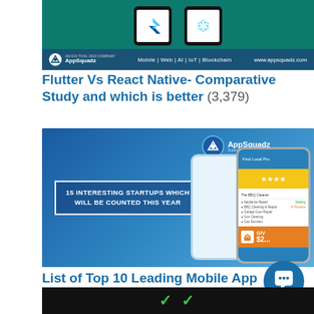[Figure (screenshot): AppSquadz branded banner showing two phone mockups on teal/green background with tagline 'Mobile | Web | AI | IoT | Blockchain' and website www.appsquadz.com]
Flutter Vs React Native- Comparative Study and which is better (3,379)
[Figure (screenshot): AppSquadz promotional image with blue city background, two phone mockups showing app UI, text box reading '15 INTERESTING STARTUPS WHICH WILL BE COUNTED THIS YEAR', AppSquadz logo top right]
List of Top 10 Leading Mobile App Development Companies in India (1,926)
[Figure (screenshot): Bottom strip showing black background with green chevron/check marks]